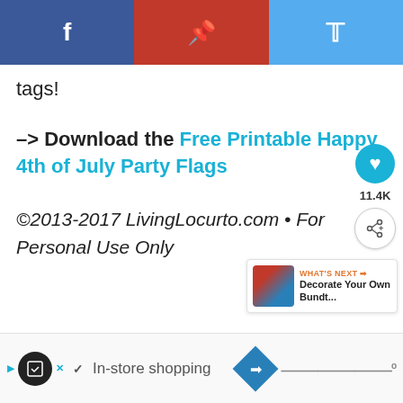[Figure (infographic): Social share bar with three buttons: Facebook (blue), Pinterest (red), Twitter (light blue), each with respective icons]
tags!
–> Download the Free Printable Happy 4th of July Party Flags
©2013-2017 LivingLocurto.com • For Personal Use Only
[Figure (infographic): Side buttons: heart/like button with teal background showing 11.4K count, and a share circle button below]
[Figure (infographic): What's Next panel showing thumbnail and text: Decorate Your Own Bundt...]
[Figure (infographic): Advertisement bar at bottom with shopping-related icons and 'In-store shopping' text]